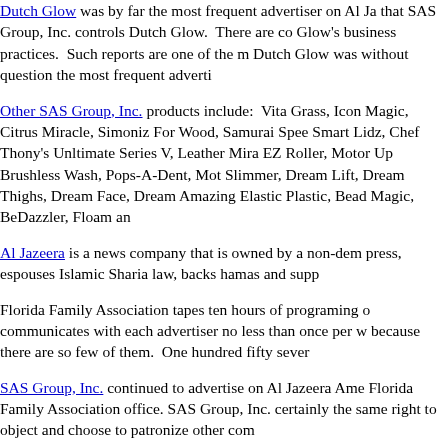Dutch Glow was by far the most frequent advertiser on Al Jazeera America that SAS Group, Inc. controls Dutch Glow. There are concerns about Dutch Glow's business practices. Such reports are one of the main reasons Dutch Glow was without question the most frequent adverti...
Other SAS Group, Inc. products include: Vita Grass, Icon Magic, Citrus Miracle, Simoniz For Wood, Samurai Speed, Smart Lidz, Chef Thony's Unltimate Series V, Leather Mira, EZ Roller, Motor Up Brushless Wash, Pops-A-Dent, Mo, Slimmer, Dream Lift, Dream Thighs, Dream Face, Dream, Amazing Elastic Plastic, Bead Magic, BeDazzler, Floam an...
Al Jazeera is a news company that is owned by a non-democratic government, espouses Islamic Sharia law, backs hamas and supp...
Florida Family Association tapes ten hours of programing o communicates with each advertiser no less than once per w because there are so few of them. One hundred fifty sever...
SAS Group, Inc. continued to advertise on Al Jazeera Ame Florida Family Association office. SAS Group, Inc. certainly the same right to object and choose to patronize other com...
Florida Family Association has prepared an email for you to Al Jazeera America.
The email/action alert is shown below for Al J...